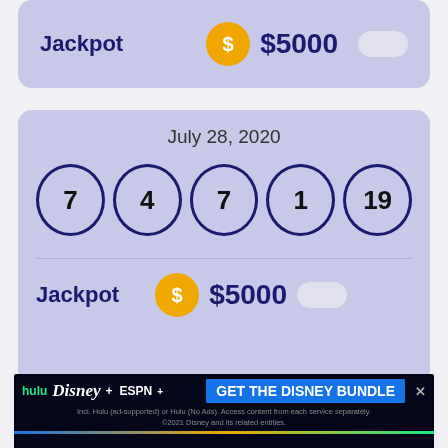Jackpot  $  $5000
July 28, 2020
7  4  7  1  19
Jackpot  $  $5000
[Figure (screenshot): Disney Bundle advertisement banner: hulu Disney+ ESPN+ GET THE DISNEY BUNDLE. Incl. Hulu (ad-supported) or Hulu (No Ads). Access content from each service separately. ©2021 Disney and its related entities.]
July 27, 2020 (partial, blurred)